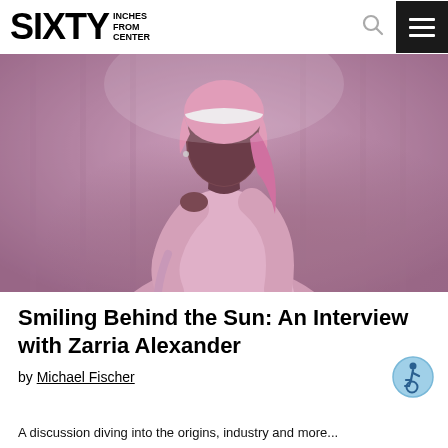SIXTY INCHES FROM CENTER
[Figure (photo): A young Black woman with pink-streaked hair wearing a pink headband and pink long-sleeve top, posed outdoors against a purple-toned background, looking over her shoulder.]
Smiling Behind the Sun: An Interview with Zarria Alexander
by Michael Fischer
A discussion diving into the origins, industry and more...